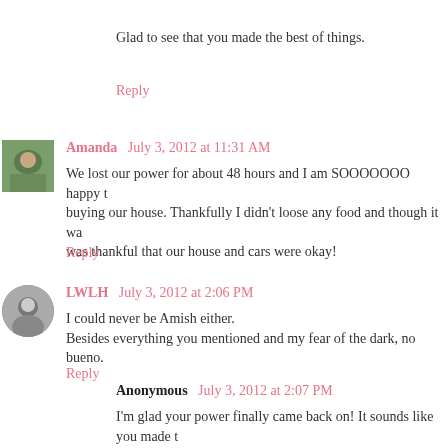Glad to see that you made the best of things.
Reply
Amanda  July 3, 2012 at 11:31 AM
We lost our power for about 48 hours and I am SOOOOOOO happy t... buying our house. Thankfully I didn't loose any food and though it wa... was thankful that our house and cars were okay!
Reply
LWLH  July 3, 2012 at 2:06 PM
I could never be Amish either.
Besides everything you mentioned and my fear of the dark, no bueno.
Reply
Anonymous  July 3, 2012 at 2:07 PM
I'm glad your power finally came back on! It sounds like you made t... Homemade pizza, wine in a Solo cup and RHOC!! That sounds incre... out during the commercials! ;)
Reply